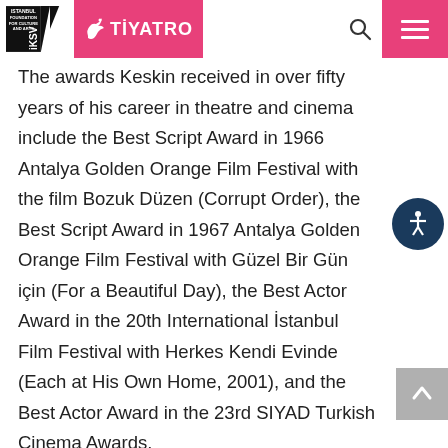IKSV TIYATRO - Istanbul Foundation for Culture and Arts
The awards Keskin received in over fifty years of his career in theatre and cinema include the Best Script Award in 1966 Antalya Golden Orange Film Festival with the film Bozuk Düzen (Corrupt Order), the Best Script Award in 1967 Antalya Golden Orange Film Festival with Güzel Bir Gün için (For a Beautiful Day), the Best Actor Award in the 20th International İstanbul Film Festival with Herkes Kendi Evinde (Each at His Own Home, 2001), and the Best Actor Award in the 23rd SIYAD Turkish Cinema Awards.